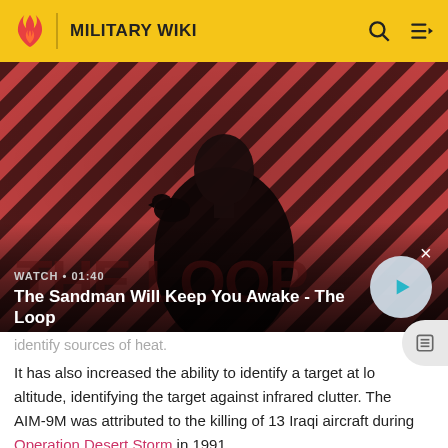MILITARY WIKI
[Figure (screenshot): Video banner overlay showing a dark-cloaked figure with a bird on shoulder against a red and dark diagonal striped background. Shows 'WATCH • 01:40' and title 'The Sandman Will Keep You Awake - The Loop' with a play button.]
identify sources of heat.
It has also increased the ability to identify a target at low altitude, identifying the target against infrared clutter. The AIM-9M was attributed to the killing of 13 Iraqi aircraft during Operation Desert Storm in 1991.